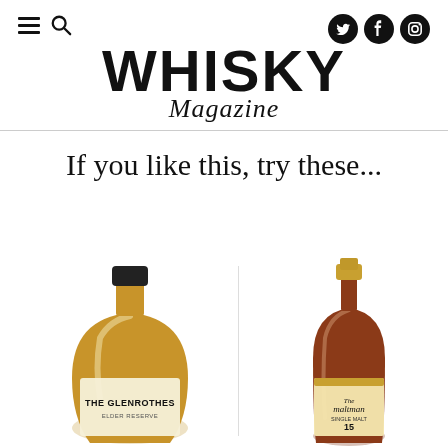WHISKY Magazine
If you like this, try these...
[Figure (photo): Two whisky bottles side by side. Left bottle: The Glenrothes Distillery Elder Reserve, a golden/amber coloured whisky in a rounded bottle with dark cap. Right bottle: The Maltman 15 year old Ben Nevis Single Cask Scotch Whisky, an amber/dark coloured whisky in a tall slender bottle with gold label.]